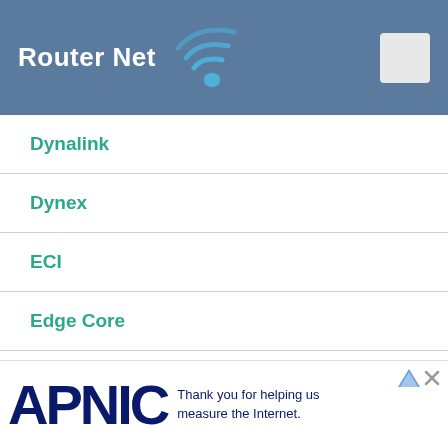Router Net
Dynalink
Dynex
ECI
Edge Core
EDGELESS
Edgewater Networks
Edimax
EDUP
EDUPLINK
[Figure (other): APNIC advertisement banner - Thank you for helping us measure the Internet.]